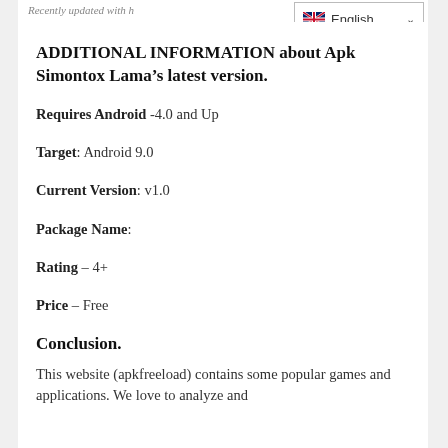Recently updated with h
[Figure (other): English language selector dropdown with UK flag icon and chevron]
ADDITIONAL INFORMATION about Apk Simontox Lama’s latest version.
Requires Android -4.0 and Up
Target: Android 9.0
Current Version: v1.0
Package Name:
Rating – 4+
Price – Free
Conclusion.
This website (apkfreeload) contains some popular games and applications. We love to analyze and